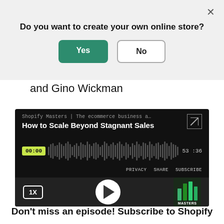Do you want to create your own online store?
Yes   No
and Gino Wickman
[Figure (screenshot): Podcast player embed showing 'Shopify Masters | The ecommerce business a…' with episode title 'How to Scale Beyond Stagnant Sales', waveform visualization, time 00:00 to 53:36, PRIVACY SHARE SUBSCRIBE links, 1X speed button, play button, and Masters podcast logo]
Don't miss an episode! Subscribe to Shopify